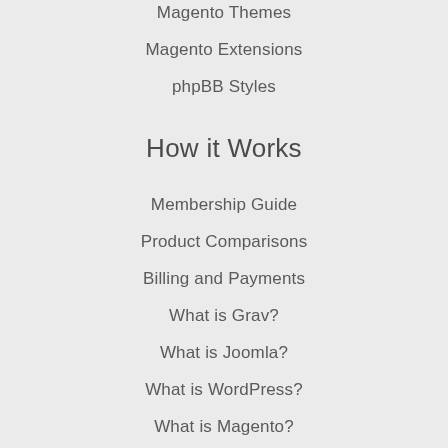Magento Themes
Magento Extensions
phpBB Styles
How it Works
Membership Guide
Product Comparisons
Billing and Payments
What is Grav?
What is Joomla?
What is WordPress?
What is Magento?